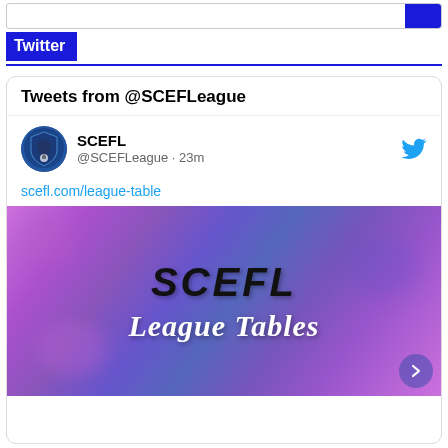Twitter
Tweets from @SCEFLeague
SCEFL @SCEFLeague · 23m
scefl.com/league-table
[Figure (screenshot): SCEFL League Tables promotional image with purple/pink gradient background showing 'SCEFL' in large bold italic black text and 'League Tables' in white italic text below]